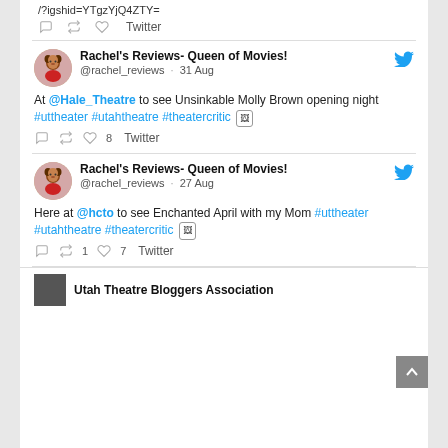/?igshid=YTgzYjQ4ZTY=
Twitter
Rachel's Reviews- Queen of Movies! @rachel_reviews · 31 Aug
At @Hale_Theatre to see Unsinkable Molly Brown opening night #uttheater #utahtheatre #theatercritic [image]
8  Twitter
Rachel's Reviews- Queen of Movies! @rachel_reviews · 27 Aug
Here at @hcto to see Enchanted April with my Mom #uttheater #utahtheatre #theatercritic [image]
1  7  Twitter
Utah Theatre Bloggers Association